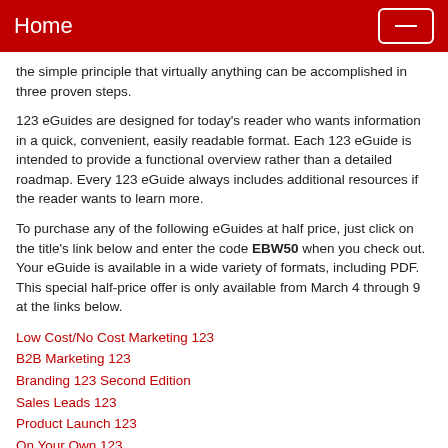Home
the simple principle that virtually anything can be accomplished in three proven steps.
123 eGuides are designed for today's reader who wants information in a quick, convenient, easily readable format. Each 123 eGuide is intended to provide a functional overview rather than a detailed roadmap. Every 123 eGuide always includes additional resources if the reader wants to learn more.
To purchase any of the following eGuides at half price, just click on the title's link below and enter the code EBW50 when you check out. Your eGuide is available in a wide variety of formats, including PDF. This special half-price offer is only available from March 4 through 9 at the links below.
Low Cost/No Cost Marketing 123
B2B Marketing 123
Branding 123 Second Edition
Sales Leads 123
Product Launch 123
On Your Own 123